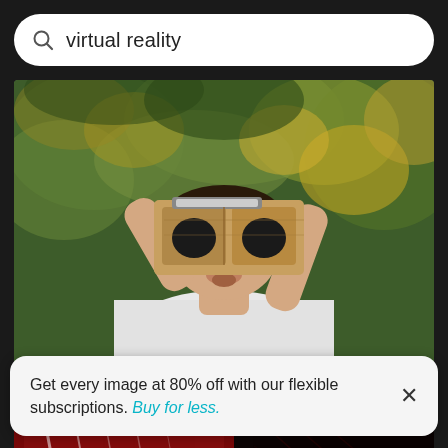virtual reality
[Figure (photo): Woman holding a Google Cardboard VR viewer up to her face, outdoors with green and yellow foliage in the background, wearing a white sleeveless top, smiling]
Woman using google cardboard against trees
[Figure (photo): Person in a dark environment with red and dark lighting, partial view of figure in VR or sci-fi setting]
Get every image at 80% off with our flexible subscriptions. Buy for less.